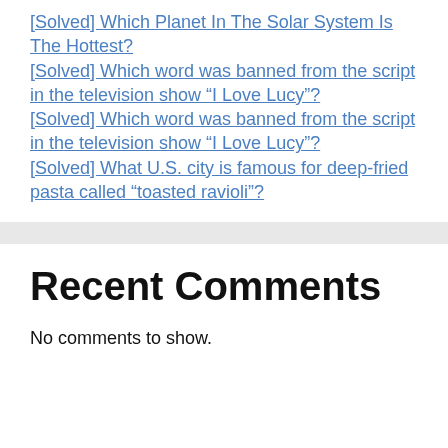[Solved] Which Planet In The Solar System Is The Hottest?
[Solved] Which word was banned from the script in the television show “I Love Lucy”?
[Solved] Which word was banned from the script in the television show “I Love Lucy”?
[Solved] What U.S. city is famous for deep-fried pasta called “toasted ravioli”?
Recent Comments
No comments to show.